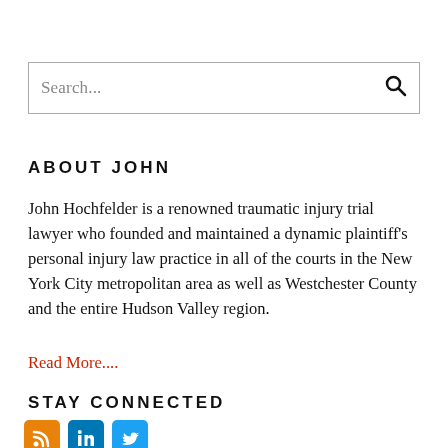[Figure (other): Search box with placeholder text 'Search...' and a search icon on the right]
ABOUT JOHN
John Hochfelder is a renowned traumatic injury trial lawyer who founded and maintained a dynamic plaintiff’s personal injury law practice in all of the courts in the New York City metropolitan area as well as Westchester County and the entire Hudson Valley region.
Read More....
STAY CONNECTED
[Figure (other): Three social media icons: RSS (orange), LinkedIn (blue), Twitter (light blue)]